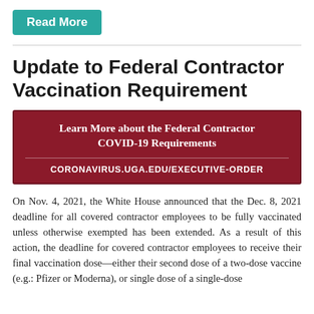[Figure (other): Teal 'Read More' button]
Update to Federal Contractor Vaccination Requirement
[Figure (infographic): Dark red banner with text: 'Learn More about the Federal Contractor COVID-19 Requirements' and URL 'CORONAVIRUS.UGA.EDU/EXECUTIVE-ORDER']
On Nov. 4, 2021, the White House announced that the Dec. 8, 2021 deadline for all covered contractor employees to be fully vaccinated unless otherwise exempted has been extended. As a result of this action, the deadline for covered contractor employees to receive their final vaccination dose—either their second dose of a two-dose vaccine (e.g.: Pfizer or Moderna), or single dose of a single-dose